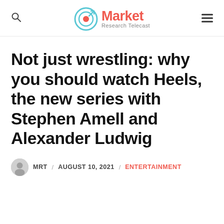Market Research Telecast
Not just wrestling: why you should watch Heels, the new series with Stephen Amell and Alexander Ludwig
MRT / AUGUST 10, 2021 / ENTERTAINMENT